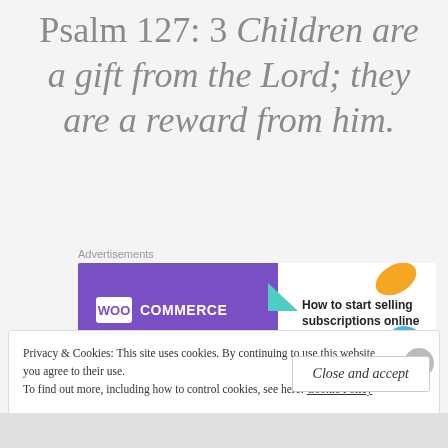Psalm 127: 3 Children are a gift from the Lord; they are a reward from him.
[Figure (screenshot): WooCommerce advertisement banner: purple left side with WooCommerce logo, white right side with text 'How to start selling subscriptions online']
Privacy & Cookies: This site uses cookies. By continuing to use this website, you agree to their use.
To find out more, including how to control cookies, see here: Cookie Policy
Close and accept